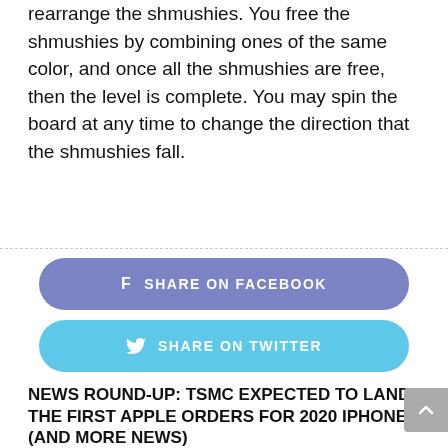rearrange the shmushies. You free the shmushies by combining ones of the same color, and once all the shmushies are free, then the level is complete. You may spin the board at any time to change the direction that the shmushies fall.
[Figure (other): Share on Facebook button (blue-purple rounded rectangle with Facebook icon)]
[Figure (other): Share on Twitter button (light blue rounded rectangle with Twitter bird icon)]
< PREVIOUS ARTICLE
NEWS ROUND-UP: TSMC EXPECTED TO LAND THE FIRST APPLE ORDERS FOR 2020 IPHONES (AND MORE NEWS)